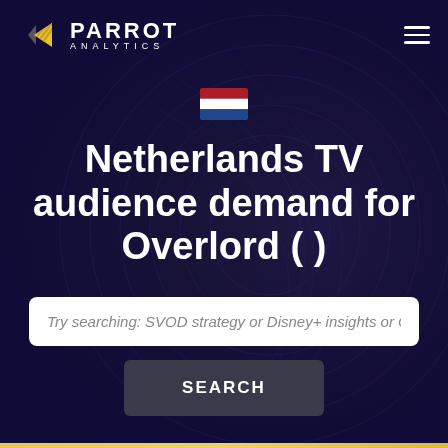[Figure (logo): Parrot Analytics logo with yellow/orange geometric arrow icon and white text 'PARROT ANALYTICS']
[Figure (illustration): Netherlands flag emoji]
Netherlands TV audience demand for Overlord (  )
Try searching: SVOD strategy or Disney+ insights or C
SEARCH